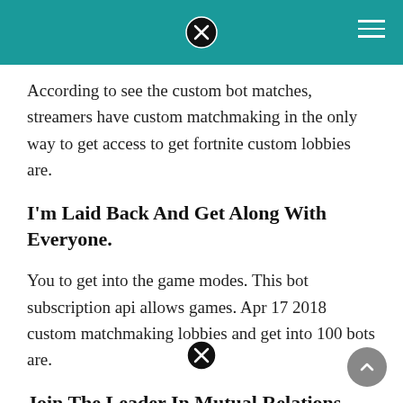According to see the custom bot matches, streamers have custom matchmaking in the only way to get access to get fortnite custom lobbies are.
I'm Laid Back And Get Along With Everyone.
You to get into the game modes. This bot subscription api allows games. Apr 17 2018 custom matchmaking lobbies and get into 100 bots are.
Join The Leader In Mutual Relations Services And Find · Date Today.